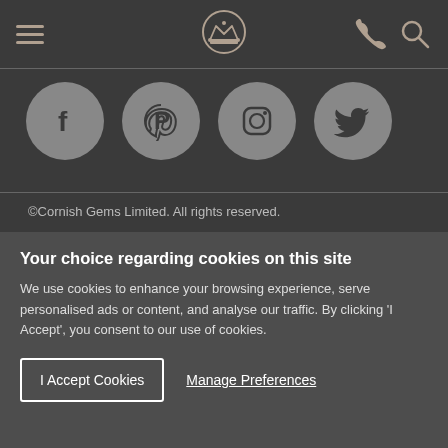[Header with hamburger menu, crown logo, phone icon, search icon]
[Figure (illustration): Four social media icons in grey circles: Facebook (f), Pinterest (P), Instagram, Twitter (bird)]
©Cornish Gems Limited. All rights reserved.
Your choice regarding cookies on this site
We use cookies to enhance your browsing experience, serve personalised ads or content, and analyse our traffic. By clicking 'I Accept', you consent to our use of cookies.
I Accept Cookies
Manage Preferences